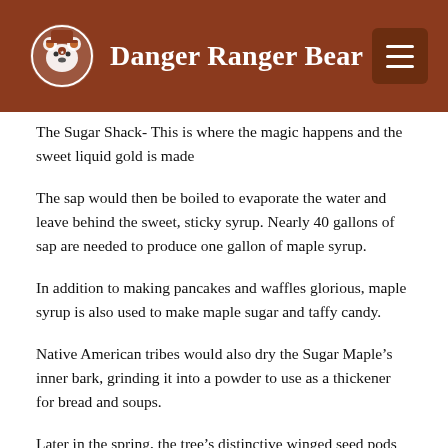Danger Ranger Bear
The Sugar Shack- This is where the magic happens and the sweet liquid gold is made
The sap would then be boiled to evaporate the water and leave behind the sweet, sticky syrup. Nearly 40 gallons of sap are needed to produce one gallon of maple syrup.
In addition to making pancakes and waffles glorious, maple syrup is also used to make maple sugar and taffy candy.
Native American tribes would also dry the Sugar Maple’s inner bark, grinding it into a powder to use as a thickener for bread and soups.
Later in the spring, the tree’s distinctive winged seed pods appear and are collected as an additional food source. They can be eaten either fresh, dried, or boiled.